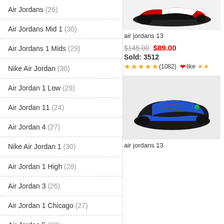Air Jordans (26)
Air Jordans Mid 1 (30)
Air Jordans 1 Mids (29)
Nike Air Jordan (30)
Air Jordan 1 Low (29)
Air Jordan 11 (24)
Air Jordan 4 (27)
Nike Air Jordan 1 (30)
Air Jordan 1 High (28)
Air Jordan 3 (26)
Air Jordan 1 Chicago (27)
Air Jordan 5 (23)
Air Jordan 6 (29)
Air Jordan Shoes (23)
Air Jordan 12 (27)
[Figure (photo): Air Jordans 13 red and black sneaker product image]
air jordans 13
air jo
$145.00  $89.00
Sold: 3512
★★★★★(1082)
❤like ★★
[Figure (photo): Air Jordans 13 black and blue sneaker product image]
air jordans 13
air jo